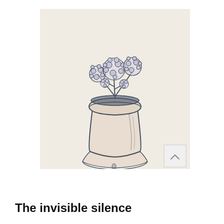[Figure (illustration): A pencil/pen sketch drawing of a terracotta flower pot with flowering plants on a saucer. The drawing is done in blue-gray ink on cream/off-white paper. The pot contains bushy flowering plants with small rounded blooms. The pot sits on a wavy saucer. A small scroll-up button with a caret symbol appears in the bottom-right corner of the image.]
The invisible silence